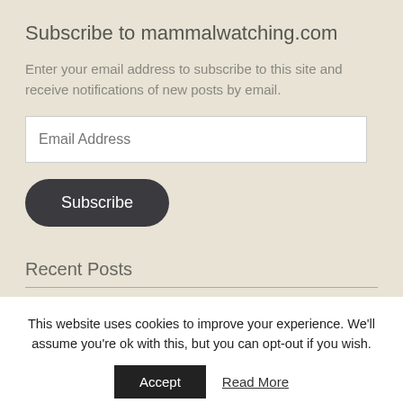Subscribe to mammalwatching.com
Enter your email address to subscribe to this site and receive notifications of new posts by email.
Recent Posts
New Trip Report: Norway
This website uses cookies to improve your experience. We'll assume you're ok with this, but you can opt-out if you wish.
Accept  Read More